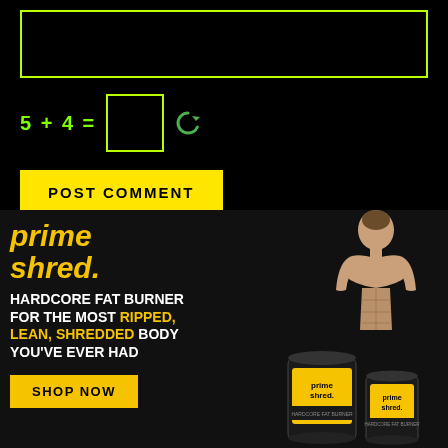[Figure (infographic): Black background comment form with yellow-green border textarea, CAPTCHA math puzzle '5 + 4 =' with yellow-bordered input box and green refresh icon, and a yellow POST COMMENT button]
[Figure (infographic): Prime Shred advertisement: brand name in yellow italic, tagline 'HARDCORE FAT BURNER FOR THE MOST RIPPED, LEAN, SHREDDED BODY YOU'VE EVER HAD' in white and yellow, SHOP NOW button, muscular man and product tins on right]